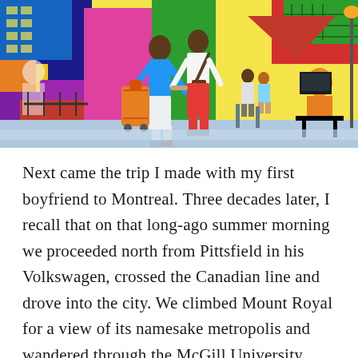[Figure (illustration): Colorful illustrated cityscape with two people walking away hand-in-hand, one in blue shirt and white pants, one in white top and red pants carrying luggage, surrounded by vivid multicolored buildings, street furniture, and other figures in a bold flat illustration style.]
Next came the trip I made with my first boyfriend to Montreal. Three decades later, I recall that on that long-ago summer morning we proceeded north from Pittsfield in his Volkswagen, crossed the Canadian line and drove into the city. We climbed Mount Royal for a view of its namesake metropolis and wandered through the McGill University campus. After we'd checked into a hotel, and …